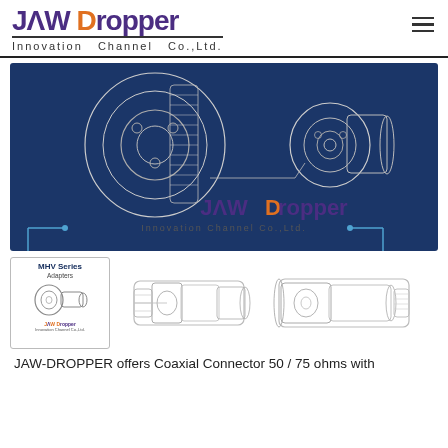[Figure (logo): JAW Dropper Innovation Channel Co.,Ltd. logo with purple JAW and orange Dropper text]
[Figure (schematic): Main banner on dark blue background showing BNC/coaxial connector exploded engineering diagram with JAW Dropper logo and company name centered below]
[Figure (engineering-diagram): MHV Series Adapters product card on left; coaxial connector cross-section engineering drawings on right]
JAW-DROPPER offers Coaxial Connector 50 / 75 ohms with